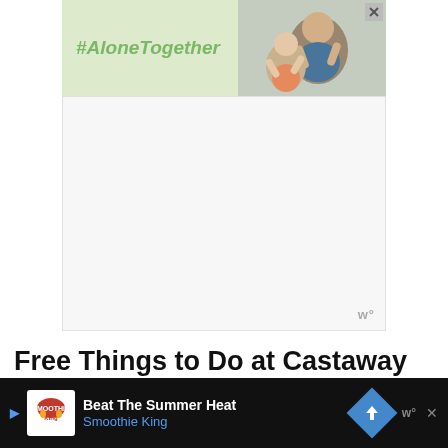[Figure (photo): #AloneTogether advertisement banner with green background, bold italic text '#AloneTogether' on left, photo of smiling man and child waving on right, with X close button]
[Figure (other): White/light gray empty advertisement placeholder area with watermark 'w°' in bottom right corner]
Free Things to Do at Castaway Cay
Of all the activities that there is to do on Castaway Cay, there are a few that are free to all guests.
[Figure (photo): Partial photo of Castaway Cay showing palm trees and tropical scene]
[Figure (photo): Bottom advertisement banner: Smoothie King 'Beat The Summer Heat' ad on black background with blue navigation arrow icon and watermark 'w°']